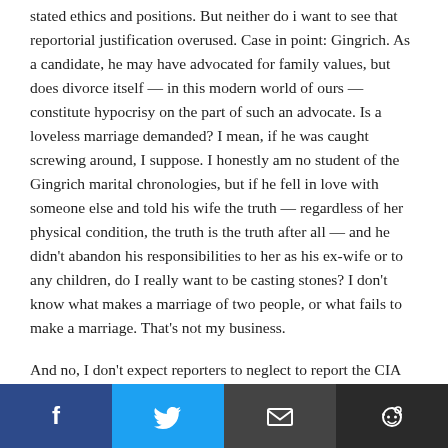stated ethics and positions. But neither do i want to see that reportorial justification overused. Case in point: Gingrich. As a candidate, he may have advocated for family values, but does divorce itself — in this modern world of ours — constitute hypocrisy on the part of such an advocate. Is a loveless marriage demanded? I mean, if he was caught screwing around, I suppose. I honestly am no student of the Gingrich marital chronologies, but if he fell in love with someone else and told his wife the truth — regardless of her physical condition, the truth is the truth after all — and he didn't abandon his responsibilities to her as his ex-wife or to any children, do I really want to be casting stones? I don't know what makes a marriage of two people, or what fails to make a marriage. That's not my business.
And no, I don't expect reporters to neglect to report the CIA director's departure and his reasons for it. But acknowledge that if there was some proportion to the
[Figure (infographic): Social sharing bar with four buttons: Facebook (dark blue), Twitter (light blue), Email (dark gray), Reddit (very dark gray)]